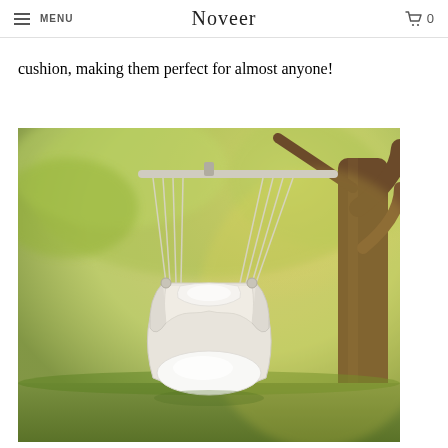MENU | Noveer | 0
cushion, making them perfect for almost anyone!
[Figure (photo): A hanging hammock chair with white cushions suspended by ropes from a metal bar, photographed outdoors with a soft-focus green tree and golden light background.]